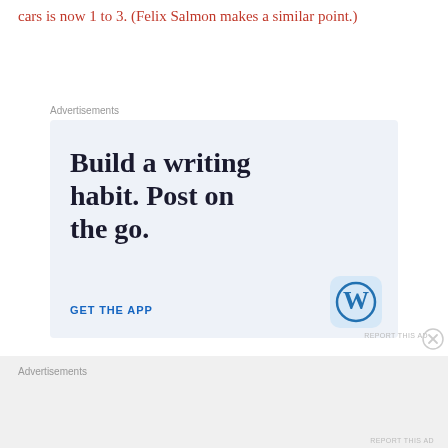cars is now 1 to 3. (Felix Salmon makes a similar point.)
Advertisements
[Figure (other): WordPress app advertisement with text 'Build a writing habit. Post on the go.' and 'GET THE APP' call to action with WordPress logo]
REPORT THIS AD
Advertisements
REPORT THIS AD